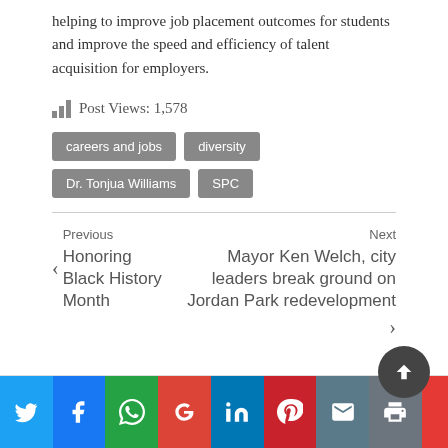helping to improve job placement outcomes for students and improve the speed and efficiency of talent acquisition for employers.
Post Views: 1,578
careers and jobs
diversity
Dr. Tonjua Williams
SPC
Previous
Honoring Black History Month
Next
Mayor Ken Welch, city leaders break ground on Jordan Park redevelopment